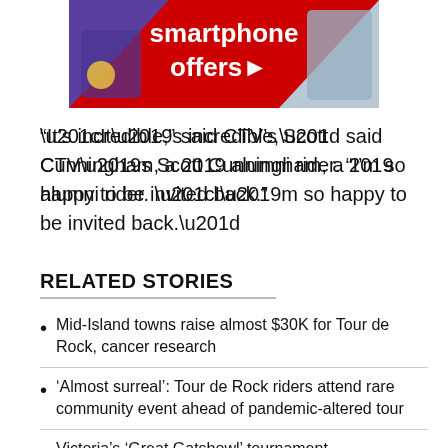[Figure (photo): Advertisement banner for smartphone offers featuring Samsung Galaxy phones on a red background with purple and light blue triangle sections]
“It’s incredible,” said CTV’s Scott Cunningham, a 2019 alumni rider. “I’m so happy to be invited back.”
RELATED STORIES
Mid-Island towns raise almost $30K for Tour de Rock, cancer research
‘Almost surreal’: Tour de Rock riders attend rare community event ahead of pandemic-altered tour
Victoria’s ‘Great Gatsbowl’ tournament